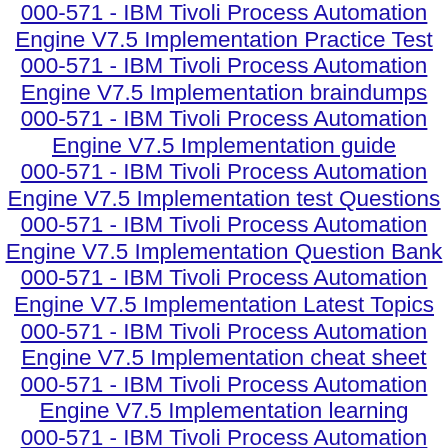000-571 - IBM Tivoli Process Automation Engine V7.5 Implementation Practice Test
000-571 - IBM Tivoli Process Automation Engine V7.5 Implementation braindumps
000-571 - IBM Tivoli Process Automation Engine V7.5 Implementation guide
000-571 - IBM Tivoli Process Automation Engine V7.5 Implementation test Questions
000-571 - IBM Tivoli Process Automation Engine V7.5 Implementation Question Bank
000-571 - IBM Tivoli Process Automation Engine V7.5 Implementation Latest Topics
000-571 - IBM Tivoli Process Automation Engine V7.5 Implementation cheat sheet
000-571 - IBM Tivoli Process Automation Engine V7.5 Implementation learning
000-571 - IBM Tivoli Process Automation Engine V7.5 Implementation Questions and